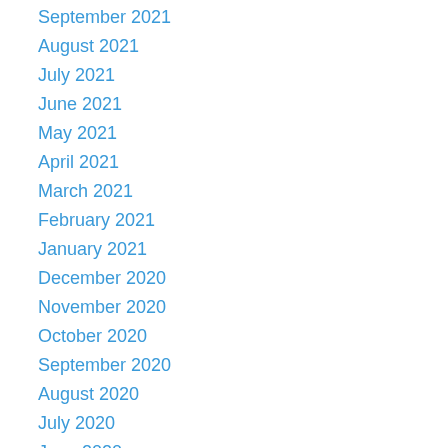September 2021
August 2021
July 2021
June 2021
May 2021
April 2021
March 2021
February 2021
January 2021
December 2020
November 2020
October 2020
September 2020
August 2020
July 2020
June 2020
May 2020
April 2020
March 2020
February 2020